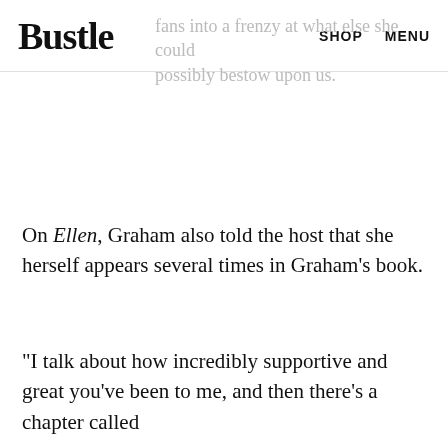Bustle  SHOP  MENU
fans into a frenzy at what else she could possibly bestow upon us.
On Ellen, Graham also told the host that she herself appears several times in Graham's book.
"I talk about how incredibly supportive and great you've been to me, and then there's a chapter called